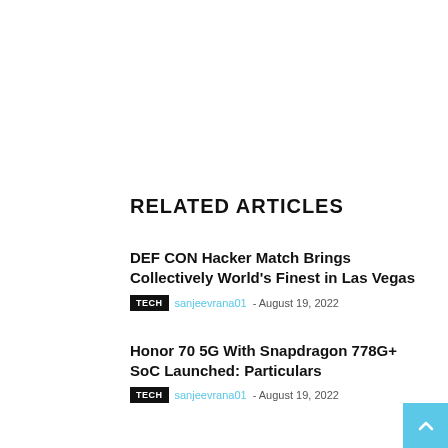RELATED ARTICLES
DEF CON Hacker Match Brings Collectively World’s Finest in Las Vegas
TECH  sanjeevrana01 - August 19, 2022
Honor 70 5G With Snapdragon 778G+ SoC Launched: Particulars
TECH  sanjeevrana01 - August 19, 2022